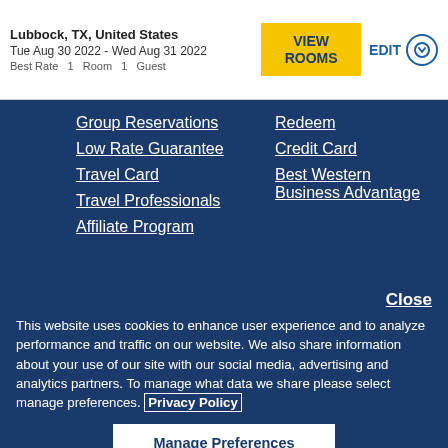Lubbock, TX, United States
Tue Aug 30 2022 - Wed Aug 31 2022
Best Rate  1  Room  1  Guest
Group Reservations
Low Rate Guarantee
Travel Card
Travel Professionals
Affiliate Program
Redeem
Credit Card
Best Western Business Advantage
Close
This website uses cookies to enhance user experience and to analyze performance and traffic on our website. We also share information about your use of our site with our social media, advertising and analytics partners. To manage what data we share please select manage preferences. Privacy Policy
Manage Preferences